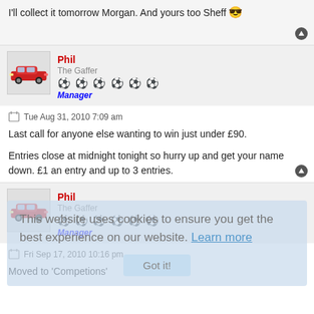I'll collect it tomorrow Morgan. And yours too Sheff 😎
Phil
The Gaffer
⚽⚽⚽⚽⚽⚽
Manager
Tue Aug 31, 2010 7:09 am
Last call for anyone else wanting to win just under £90.

Entries close at midnight tonight so hurry up and get your name down. £1 an entry and up to 3 entries.
Phil
The Gaffer
⚽⚽⚽⚽⚽⚽
Manager
Fri Sep 17, 2010 10:16 pm
Moved to 'Competions'